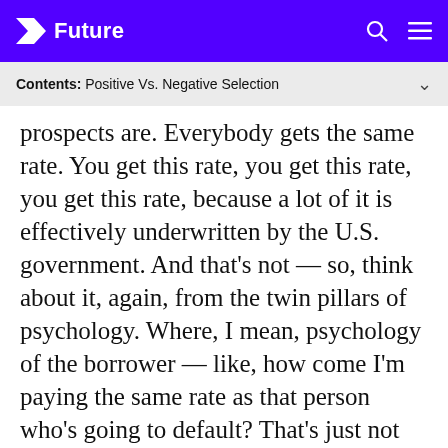Future
Contents: Positive Vs. Negative Selection
prospects are. Everybody gets the same rate. You get this rate, you get this rate, you get this rate, because a lot of it is effectively underwritten by the U.S. government. And that's not — so, think about it, again, from the twin pillars of psychology. Where, I mean, psychology of the borrower — like, how come I'm paying the same rate as that person who's going to default? That's just not fair. I'm never going to default. In fact, I'm going to pay back my student loans early. So, that helped